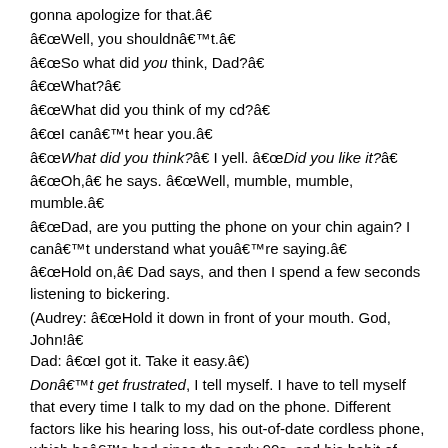gonna apologize for that.â€
â€œWell, you shouldnâ€™t.â€
â€œSo what did you think, Dad?â€
â€œWhat?â€
â€œWhat did you think of my cd?â€
â€œI canâ€™t hear you.â€
â€œWhat did you think?â€ I yell. â€œDid you like it?â€
â€œOh,â€ he says. â€œWell, mumble, mumble, mumble.â€
â€œDad, are you putting the phone on your chin again? I canâ€™t understand what youâ€™re saying.â€
â€œHold on,â€ Dad says, and then I spend a few seconds listening to bickering.
(Audrey: â€œHold it down in front of your mouth. God, John!â€ Dad: â€œI got it. Take it easy.â€)
Donâ€™t get frustrated, I tell myself. I have to tell myself that every time I talk to my dad on the phone. Different factors like his hearing loss, his out-of-date cordless phone, which heâ€™s had since the early 90s, and his habit of holding the receiver down on his chin really trip up our ability to effectively communicate. Our